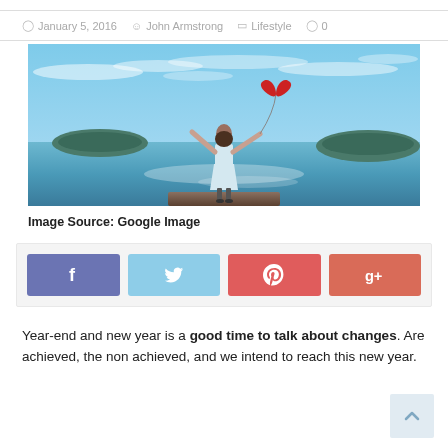January 5, 2016  John Armstrong  Lifestyle  0
[Figure (photo): Woman standing at waterfront with arms raised holding a red heart-shaped balloon, blue sky and water background, islands in distance]
Image Source: Google Image
[Figure (infographic): Social share buttons: Facebook (purple), Twitter (light blue), Pinterest (red), Google+ (coral red)]
Year-end and new year is a good time to talk about changes. Are achieved, the non achieved, and we intend to reach this new year.